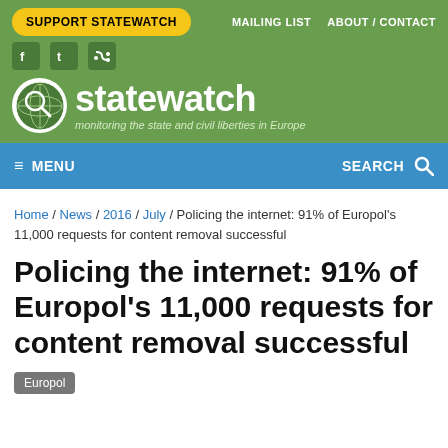SUPPORT STATEWATCH | MAILING LIST | ABOUT / CONTACT
[Figure (logo): Statewatch logo with globe and magnifying glass, green background, site name 'statewatch' and tagline 'monitoring the state and civil liberties in Europe']
MENU | SEARCH
Home / News / 2016 / July / Policing the internet: 91% of Europol's 11,000 requests for content removal successful
Policing the internet: 91% of Europol's 11,000 requests for content removal successful
Europol